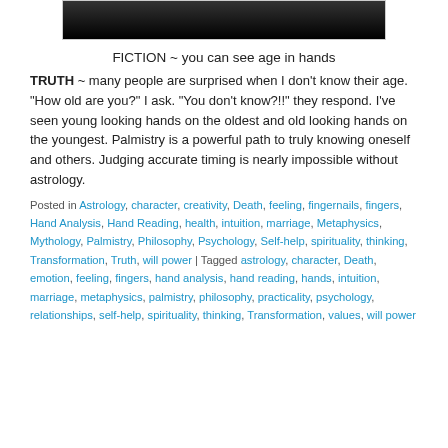[Figure (photo): Black and white photo of hands, cropped at bottom edge]
FICTION ~ you can see age in hands
TRUTH ~ many people are surprised when I don't know their age. “How old are you?” I ask. “You don’t know?!!” they respond. I’ve seen young looking hands on the oldest and old looking hands on the youngest. Palmistry is a powerful path to truly knowing oneself and others. Judging accurate timing is nearly impossible without astrology.
Posted in Astrology, character, creativity, Death, feeling, fingernails, fingers, Hand Analysis, Hand Reading, health, intuition, marriage, Metaphysics, Mythology, Palmistry, Philosophy, Psychology, Self-help, spirituality, thinking, Transformation, Truth, will power | Tagged astrology, character, Death, emotion, feeling, fingers, hand analysis, hand reading, hands, intuition, marriage, metaphysics, palmistry, philosophy, practicality, psychology, relationships, self-help, spirituality, thinking, Transformation, values, will power